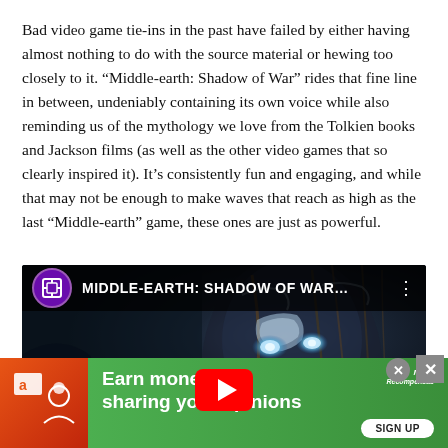Bad video game tie-ins in the past have failed by either having almost nothing to do with the source material or hewing too closely to it. “Middle-earth: Shadow of War” rides that fine line in between, undeniably containing its own voice while also reminding us of the mythology we love from the Tolkien books and Jackson films (as well as the other video games that so clearly inspired it). It’s consistently fun and engaging, and while that may not be enough to make waves that reach as high as the last “Middle-earth” game, these ones are just as powerful.
[Figure (screenshot): YouTube video embed showing Middle-Earth: Shadow of War video with channel icon, title text 'MIDDLE-EARTH: SHADOW OF WAR...' and a play button overlay on a dark fantasy background]
[Figure (screenshot): Advertisement banner: green background with 'Earn money by sharing your opinions' text, Amazon icon, MutiRecompensas logo, and SIGN UP button]